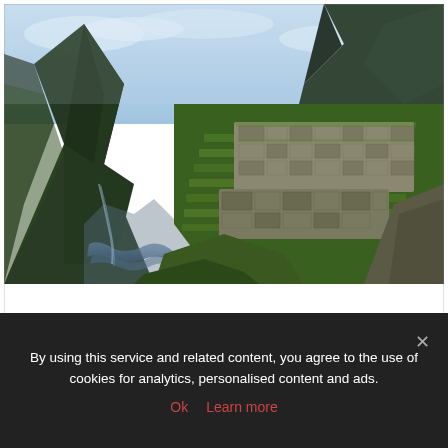[Figure (photo): Aerial photograph of Machu Picchu, the ancient Inca citadel set high in the Andes Mountains of Peru, showing stone ruins surrounded by lush green terraces with dramatic mountain peaks in the background and a river valley visible below.]
By using this service and related content, you agree to the use of cookies for analytics, personalised content and ads.
Ok  Learn more